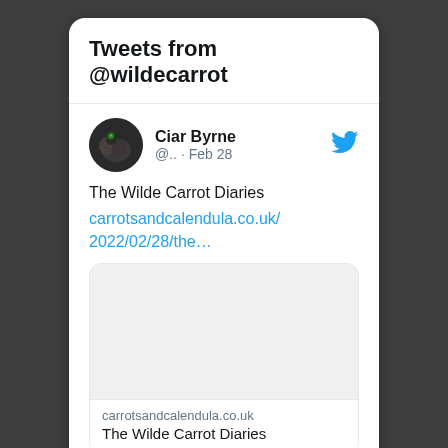Tweets from @wildecarrot
Ciar Byrne @.. · Feb 28
The Wilde Carrot Diaries carrotsandcalendula.co.uk/2022/02/28/the…
[Figure (screenshot): Link preview card showing carrotsandcalendula.co.uk with grey image placeholder area]
carrotsandcalendula.co.uk
The Wilde Carrot Diaries
Reply icon, Heart icon, 1 like